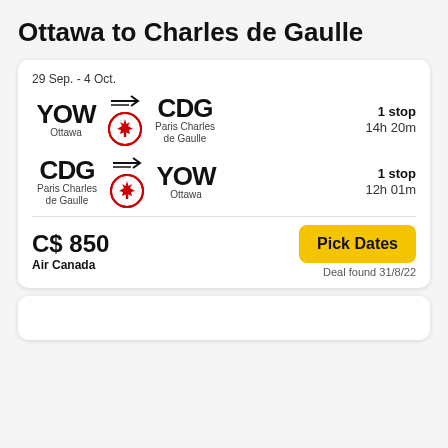Ottawa to Charles de Gaulle
29 Sep. - 4 Oct.
YOW Ottawa → CDG Paris Charles de Gaulle | 1 stop | 14h 20m
CDG Paris Charles de Gaulle → YOW Ottawa | 1 stop | 12h 01m
C$ 850
Air Canada
Pick Dates
Deal found 31/8/22